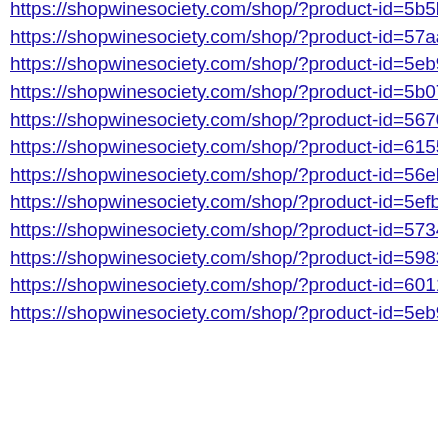https://shopwinesociety.com/shop/?product-id=5b5b3b3...
https://shopwinesociety.com/shop/?product-id=57aa2d5...
https://shopwinesociety.com/shop/?product-id=5eb9bdd...
https://shopwinesociety.com/shop/?product-id=5b071d9...
https://shopwinesociety.com/shop/?product-id=56703d1...
https://shopwinesociety.com/shop/?product-id=6155d76...
https://shopwinesociety.com/shop/?product-id=56eb7eec...
https://shopwinesociety.com/shop/?product-id=5efbd8bf...
https://shopwinesociety.com/shop/?product-id=5734e78...
https://shopwinesociety.com/shop/?product-id=5983a86...
https://shopwinesociety.com/shop/?product-id=6011a5b...
https://shopwinesociety.com/shop/?product-id=5eb9be8...